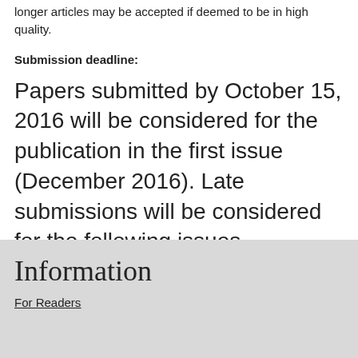longer articles may be accepted if deemed to be in high quality.
Submission deadline:
Papers submitted by October 15, 2016 will be considered for the publication in the first issue (December 2016). Late submissions will be considered for the following issues.
Information
For Readers